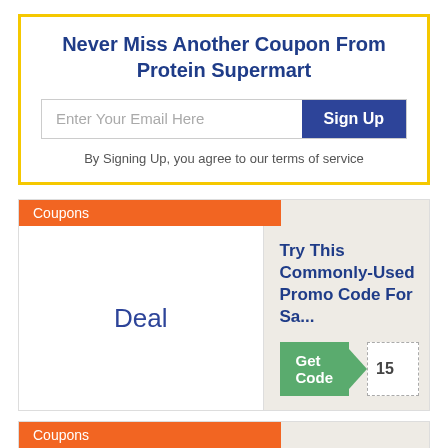Never Miss Another Coupon From Protein Supermart
Enter Your Email Here
Sign Up
By Signing Up, you agree to our terms of service
Coupons
Try This Commonly-Used Promo Code For Sa...
Deal
Get Code
15
Coupons
Try This Commonly-Used Promo Code For Sa...
Deal